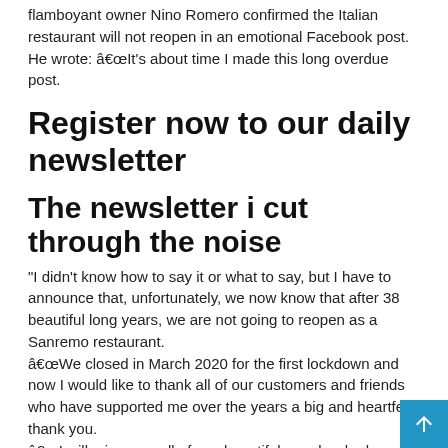flamboyant owner Nino Romero confirmed the Italian restaurant will not reopen in an emotional Facebook post. He wrote: â€œIt’s about time I made this long overdue post.
Register now to our daily newsletter
The newsletter i cut through the noise
“I didn’t know how to say it or what to say, but I have to announce that, unfortunately, we now know that after 38 beautiful long years, we are not going to reopen as a Sanremo restaurant.
â€œWe closed in March 2020 for the first lockdown and now I would like to thank all of our customers and friends who have supported me over the years a big and heartfelt thank you.
â€œI will miss you, all of you beautiful people who have come...